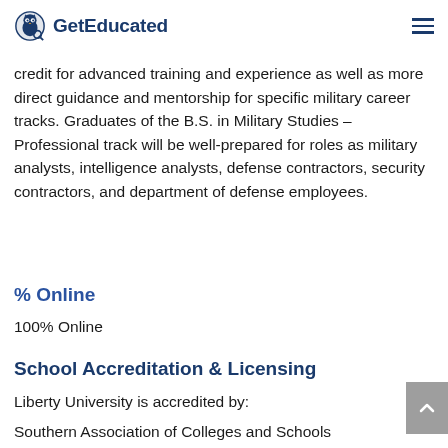GetEducated
and professional operations, with specialized training in a field of study. The professional track focuses on providing career military students with additional transfer credit for advanced training and experience as well as more direct guidance and mentorship for specific military career tracks. Graduates of the B.S. in Military Studies – Professional track will be well-prepared for roles as military analysts, intelligence analysts, defense contractors, security contractors, and department of defense employees.
% Online
100% Online
School Accreditation & Licensing
Liberty University is accredited by:
Southern Association of Colleges and Schools Commission on Colleges (SACSCOC)